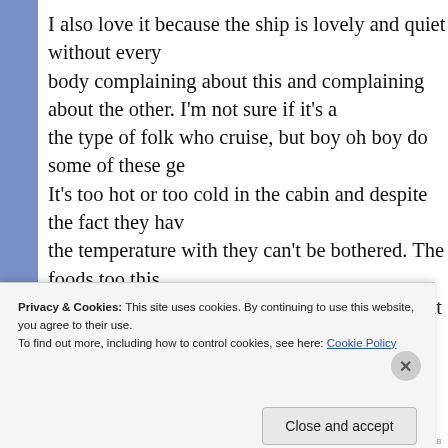I also love it because the ship is lovely and quiet without every body complaining about this and complaining about the other. I'm not sure if it's a generational or the type of folk who cruise, but boy oh boy do some of these ge… It's too hot or too cold in the cabin and despite the fact they hav… the temperature with they can't be bothered. The foods too this… the swimming pools not open (and even when it is no one goes… attention and no one is immune from scrutiny. Now here's the i… those who complain the most are the biggest pains in the unive… without putting up a hand to capture their escaping germs, they mouths full of food, they witter on incessantly about themselves with the last of the bananas, yes even if there are twenty left th…
Privacy & Cookies: This site uses cookies. By continuing to use this website, you agree to their use.
To find out more, including how to control cookies, see here: Cookie Policy